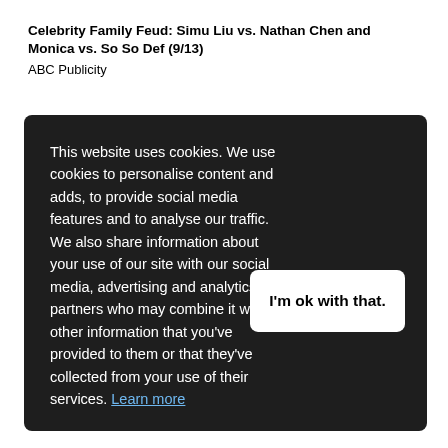Celebrity Family Feud: Simu Liu vs. Nathan Chen and Monica vs. So So Def (9/13)
ABC Publicity
This website uses cookies. We use cookies to personalise content and adds, to provide social media features and to analyse our traffic. We also share information about your use of our site with our social media, advertising and analytics partners who may combine it with other information that you've provided to them or that they've collected from your use of their services. Learn more
I'm ok with that.